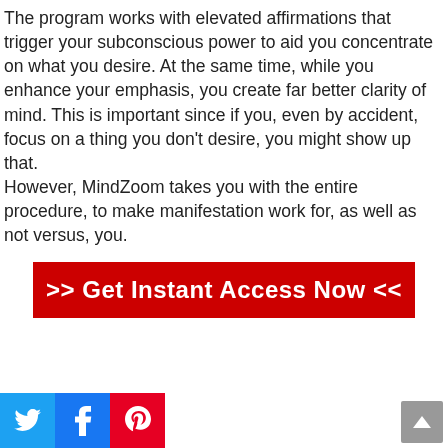The program works with elevated affirmations that trigger your subconscious power to aid you concentrate on what you desire. At the same time, while you enhance your emphasis, you create far better clarity of mind. This is important since if you, even by accident, focus on a thing you don't desire, you might show up that.
However, MindZoom takes you with the entire procedure, to make manifestation work for, as well as not versus, you.
[Figure (other): Red call-to-action button with white bold text reading '>> Get Instant Access Now <<']